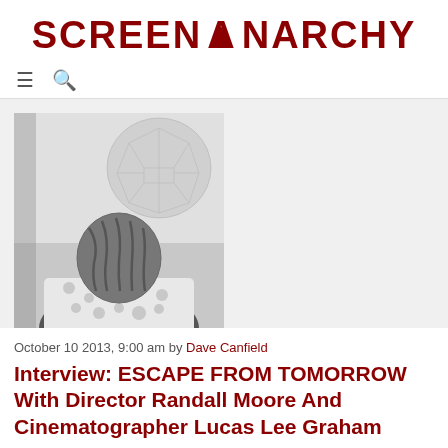SCREENANARCHY
[Figure (photo): Black and white photo showing the back of a person's head with braided/curly hair, with a large geometric geodesic dome structure (resembling Spaceship Earth at Epcot) visible in the background.]
October 10 2013, 9:00 am by Dave Canfield
Interview: ESCAPE FROM TOMORROW With Director Randall Moore And Cinematographer Lucas Lee Graham
Like many, I never thought I'd have a chance to see Escape from Tomorrow, but I held out the faint hope that it would make some sort of other festival appearance after premiering to much